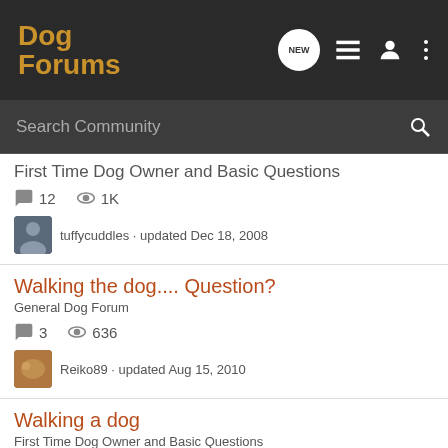Dog Forums
Search Community
First Time Dog Owner and Basic Questions
12 replies · 1K views · tuffycuddles · updated Dec 18, 2008
Walking the dog.... Question?
General Dog Forum · 3 replies · 636 views · Reiko89 · updated Aug 15, 2010
Walking a dog
First Time Dog Owner and Basic Questions · 8 replies · 1K views